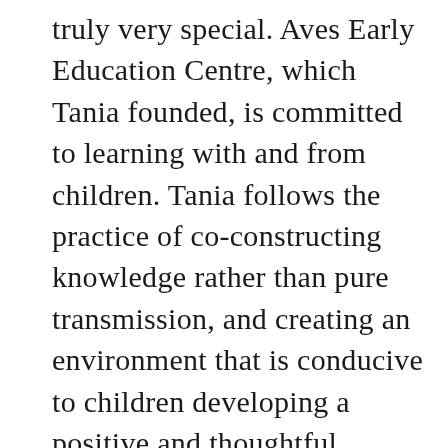truly very special. Aves Early Education Centre, which Tania founded, is committed to learning with and from children. Tania follows the practice of co-constructing knowledge rather than pure transmission, and creating an environment that is conducive to children developing a positive and thoughtful attitude towards learning. The programs operated by Aves bring together